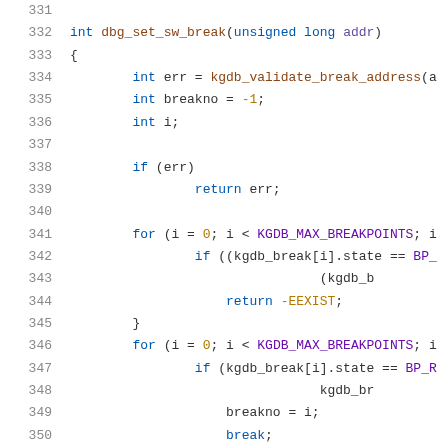Source code listing lines 331-351, C function dbg_set_sw_break